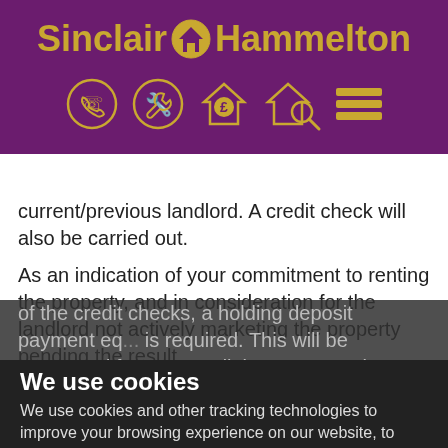[Figure (logo): Sinclair Hammelton logo with purple background, gold text and home icon, plus navigation icons (phone, wrench, house with pound sign, house with magnifier, hamburger menu)]
current/previous landlord. A credit check will also be carried out.
As an indication of your commitment to renting the property, and in consideration for the landlord not actively marketing the property pending the result of the credit checks, a holding deposit payment eq... is required. This will be accounted for as a credit in your move in balance in...
Should you decide not to proceed with the let or application forms are returned later than 7 days or you fail referencing or withdraw for any other reason
We use cookies
We use cookies and other tracking technologies to improve your browsing experience on our website, to show you personalized content and targeted ads, to analyze our website traffic, and to understand